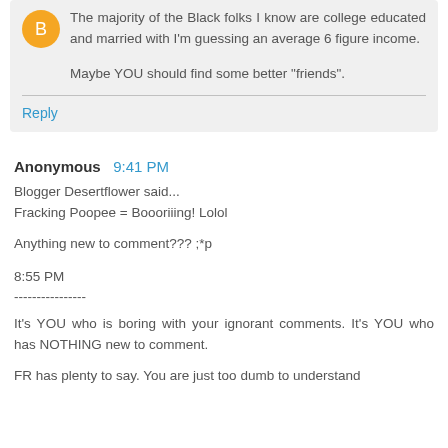The majority of the Black folks I know are college educated and married with I'm guessing an average 6 figure income.

Maybe YOU should find some better "friends".
Reply
Anonymous 9:41 PM
Blogger Desertflower said...
Fracking Poopee = Boooriiing! Lolol

Anything new to comment??? ;*p

8:55 PM
----------------
It's YOU who is boring with your ignorant comments. It's YOU who has NOTHING new to comment.

FR has plenty to say. You are just too dumb to understand